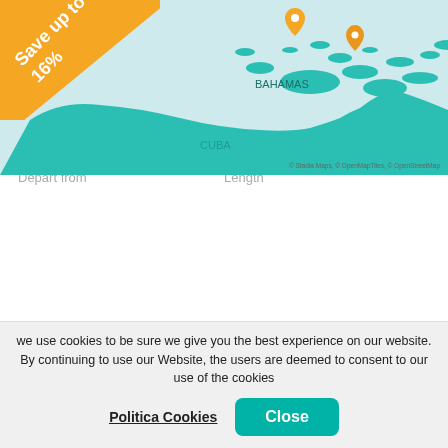[Figure (map): Map showing the Bahamas and Cuba region with teal/cyan land masses on a light cyan background. Two orange location pin markers are shown over the Bahamas. Text label 'BAHAMAS' and 'CUBA' on the map. An orange diagonal banner in the top-left corner reads 'Save up to 16%'. Map attribution: © Stadia Maps, © OpenMapTiles, © OpenStreetMap.]
Bahamas
United States > Bahamas
from R5 760
Tour Operator
Carnival Cruise Line
Ship
Carnival Liberty ®
Depart from
Length
we use cookies to be sure we give you the best experience on our website. By continuing to use our Website, the users are deemed to consent to our use of the cookies
Politica Cookies
Close